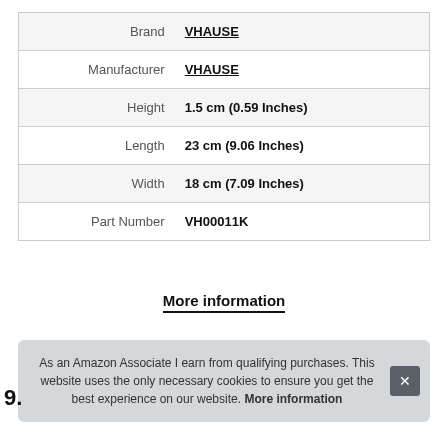|  |  |
| --- | --- |
| Brand | VHAUSE |
| Manufacturer | VHAUSE |
| Height | 1.5 cm (0.59 Inches) |
| Length | 23 cm (9.06 Inches) |
| Width | 18 cm (7.09 Inches) |
| Part Number | VH00011K |
More information
As an Amazon Associate I earn from qualifying purchases. This website uses the only necessary cookies to ensure you get the best experience on our website. More information
9.